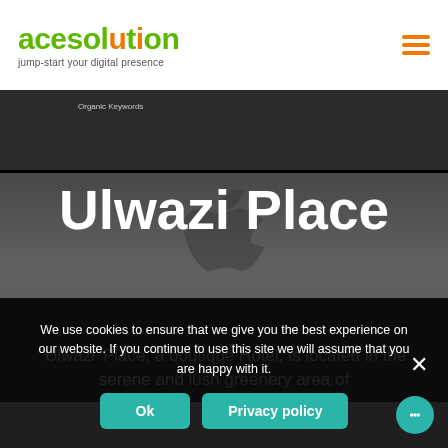[Figure (logo): Acesolution logo with green and orange text reading 'acesolution' and tagline 'jump-start your digital presence']
[Figure (screenshot): Screenshot/hero image showing 'Ulwazi Place' text over a dark background with a laptop/Apple device, with SEMrush organic keywords panel visible at the top, and subtext: ''Ulwazi' Place, a boutique Hotel, is located in the serene and lush greenery area of']
We use cookies to ensure that we give you the best experience on our website. If you continue to use this site we will assume that you are happy with it.